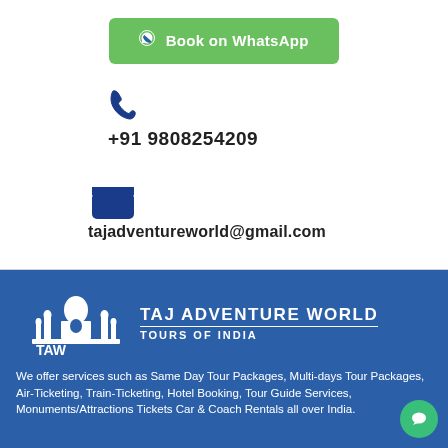[Figure (other): Green WhatsApp Book button with WhatsApp icon]
[Figure (other): Blue phone/telephone icon]
+91 9808254209
[Figure (other): Blue inbox/email tray icon]
tajadventureworld@gmail.com
[Figure (logo): Taj Adventure World Tours of India logo with TAW text and Taj Mahal icon]
We offer services such as Same Day Tour Packages, Multi-days Tour Packages, Air-Ticketing, Train-Ticketing, Hotel Booking, Tour Guide Services, Monuments/Attractions Tickets Car & Coach Rentals all over India.